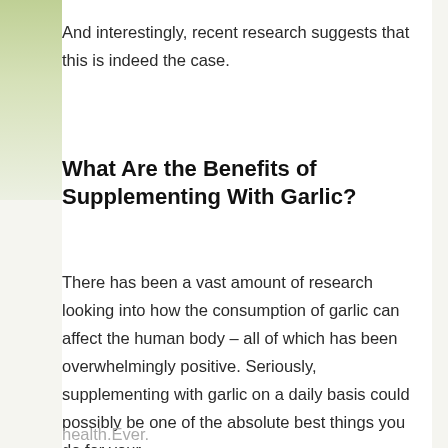And interestingly, recent research suggests that this is indeed the case.
What Are the Benefits of Supplementing With Garlic?
There has been a vast amount of research looking into how the consumption of garlic can affect the human body – all of which has been overwhelmingly positive. Seriously, supplementing with garlic on a daily basis could possibly be one of the absolute best things you do for your health.Ever.